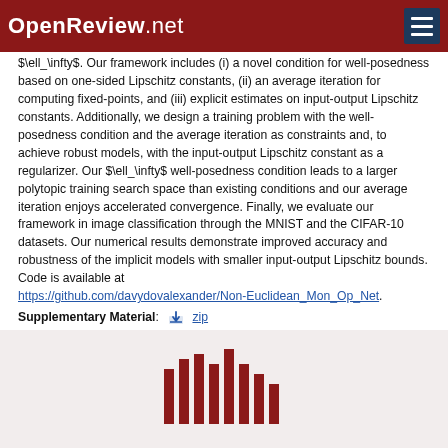OpenReview.net
$\ell_\infty$. Our framework includes (i) a novel condition for well-posedness based on one-sided Lipschitz constants, (ii) an average iteration for computing fixed-points, and (iii) explicit estimates on input-output Lipschitz constants. Additionally, we design a training problem with the well-posedness condition and the average iteration as constraints and, to achieve robust models, with the input-output Lipschitz constant as a regularizer. Our $\ell_\infty$ well-posedness condition leads to a larger polytopic training search space than existing conditions and our average iteration enjoys accelerated convergence. Finally, we evaluate our framework in image classification through the MNIST and the CIFAR-10 datasets. Our numerical results demonstrate improved accuracy and robustness of the implicit models with smaller input-output Lipschitz bounds. Code is available at https://github.com/davydovalexander/Non-Euclidean_Mon_Op_Net.
Supplementary Material: zip
Code Of Conduct: I certify that all co-authors of this work have read and commit to adhering to the NeurIPS Statement on Ethics, Fairness, Inclusivity, and Code of Conduct.
Code: https://github.com/davydovalexander/Non-Euclidean_Mon_Op_Net
[Figure (logo): OpenReview barcode/logo mark at bottom of page, dark red vertical bars of varying heights forming a barcode-like pattern]